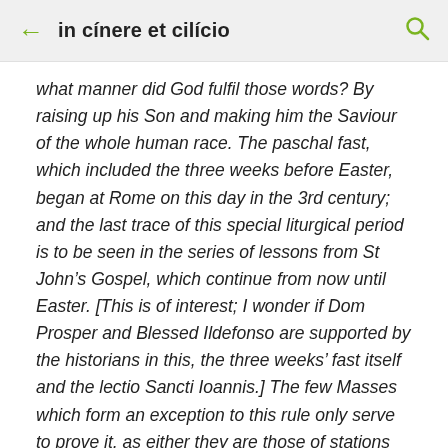in cínere et cilício
what manner did God fulfil those words? By raising up his Son and making him the Saviour of the whole human race. The paschal fast, which included the three weeks before Easter, began at Rome on this day in the 3rd century; and the last trace of this special liturgical period is to be seen in the series of lessons from St John's Gospel, which continue from now until Easter. [This is of interest; I wonder if Dom Prosper and Blessed Ildefonso are supported by the historians in this, the three weeks' fast itself and the lectio Sancti Ioannis.] The few Masses which form an exception to this rule only serve to prove it, as either they are those of stations instituted afterwards by